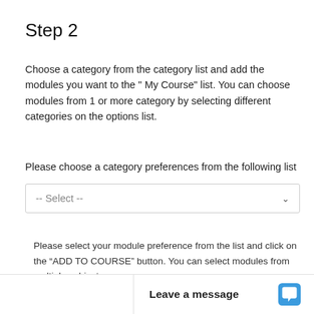Step 2
Choose a category from the category list and add the modules you want to the " My Course" list. You can choose modules from 1 or more category by selecting different categories on the options list.
Please choose a category preferences from the following list
[Figure (screenshot): Dropdown select box with placeholder text '-- Select --' and a chevron icon on the right]
Please select your module preference from the list and click on the "ADD TO COURSE" button. You can select modules from multiple subject areas.
MODULES
[Figure (screenshot): Bottom chat bar with 'Leave a message' text and a chat bubble icon in blue]